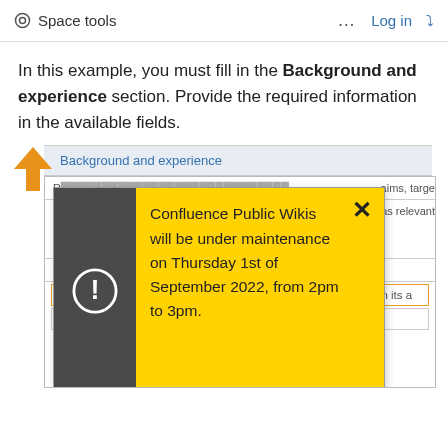Space tools  ...  Log in  ↗
In this example, you must fill in the Background and experience section. Provide the required information in the available fields.
[Figure (screenshot): Screenshot of a Confluence wiki page showing the 'Background and experience' section with an orange arrow pointing to it, and a yellow popup notification: 'Confluence Public Wikis will be under maintenance on Thursday 1st of September 2022, from 2pm to 3pm.' with a dark grey left panel containing a warning icon and an X close button.]